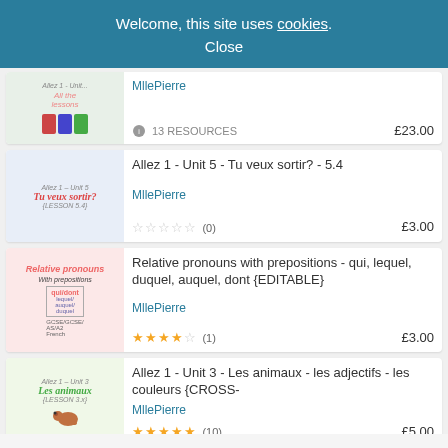Welcome, this site uses cookies. Close
[Figure (screenshot): Thumbnail for MllePierre bundle with cartoon children and 'All the lessons' text]
MllePierre
13 RESOURCES
£23.00
[Figure (screenshot): Thumbnail for Allez 1 Unit 5 Tu veux sortir? - lesson 5.4 with cartoon girl in hat]
Allez 1 - Unit 5 - Tu veux sortir? - 5.4
MllePierre
☆☆☆☆☆ (0)
£3.00
[Figure (screenshot): Thumbnail for Relative pronouns with prepositions - GCSE/GCSE/AS/A2 French, editable]
Relative pronouns with prepositions - qui, lequel, duquel, auquel, dont {EDITABLE}
MllePierre
★★★★☆ (1)
£3.00
[Figure (screenshot): Thumbnail for Allez 1 Unit 3 Les animaux with cartoon dog]
Allez 1 - Unit 3 - Les animaux - les adjectifs - les couleurs {CROSS-
MllePierre
★★★★★ (10)
£5.00